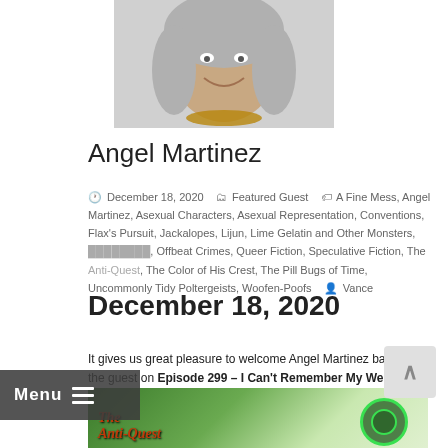[Figure (photo): Portrait photo of Angel Martinez, a woman with long gray hair, smiling, wearing a gold/amber necklace, photo cropped at top of page]
Angel Martinez
December 18, 2020   Featured Guest   A Fine Mess, Angel Martinez, Asexual Characters, Asexual Representation, Conventions, Flax's Pursuit, Jackalopes, Lijun, Lime Gelatin and Other Monsters, [partially obscured], Offbeat Crimes, Queer Fiction, Speculative Fiction, The [Anti-Quest], The Color of His Crest, The Pill Bugs of Time, Uncommonly Tidy Poltergeists, Woofen-Poofs   Vance
December 18, 2020
It gives us great pleasure to welcome Angel Martinez back as the guest on Episode 299 – I Can't Remember My Website Dot Com!
[Figure (photo): Book cover image partially visible at bottom, showing 'The Anti-Quest' title text in stylized red/orange lettering on a green background, with a circular green ring/portal graphic on the right side]